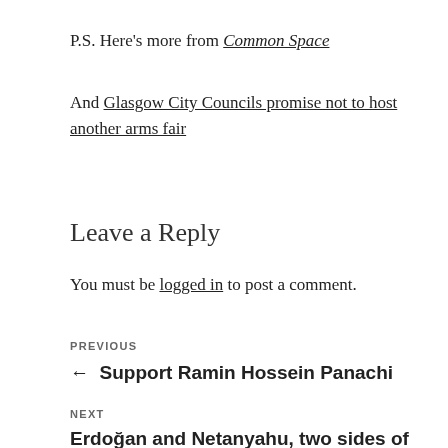P.S. Here's more from Common Space
And Glasgow City Councils promise not to host another arms fair
Leave a Reply
You must be logged in to post a comment.
PREVIOUS
← Support Ramin Hossein Panachi
NEXT
Erdoğan and Netanyahu, two sides of the same